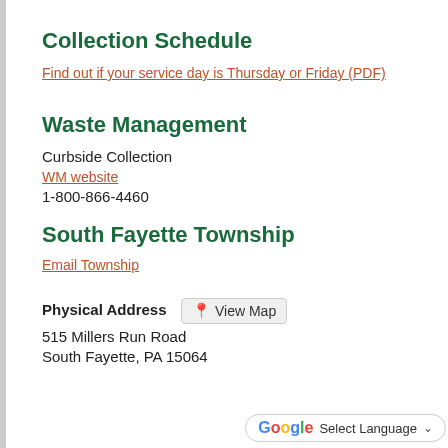Collection Schedule
Find out if your service day is Thursday or Friday (PDF)
Waste Management
Curbside Collection
WM website
1-800-866-4460
South Fayette Township
Email Township
Physical Address
515 Millers Run Road
South Fayette, PA 15064